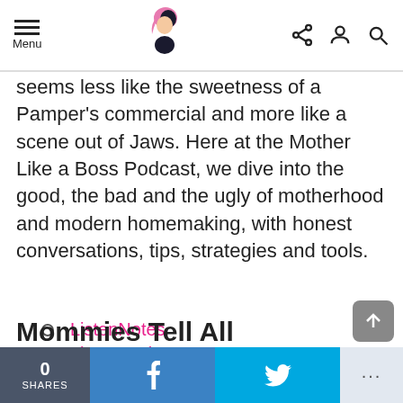Menu [navigation bar with logo and icons]
seems less like the sweetness of a Pamper's commercial and more like a scene out of Jaws. Here at the Mother Like a Boss Podcast, we dive into the good, the bad and the ugly of motherhood and modern homemaking, with honest conversations, tips, strategies and tools.
ListenNotes
Listen on iTunes
RSS feed
Mommies Tell All